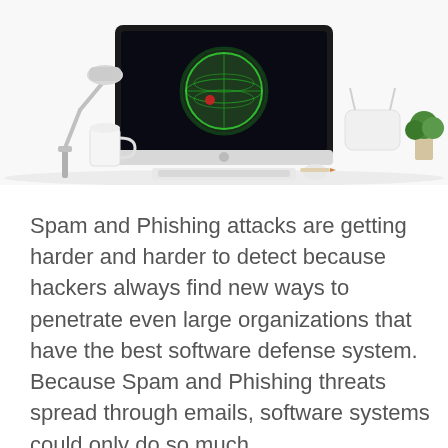[Figure (photo): A desk scene with an iMac computer displaying a glowing green globe/hacker graphic, a desk lamp, white mug, and other desk accessories on a white background.]
Spam and Phishing attacks are getting harder and harder to detect because hackers always find new ways to penetrate even large organizations that have the best software defense system.  Because Spam and Phishing threats spread through emails, software systems could only do so much.